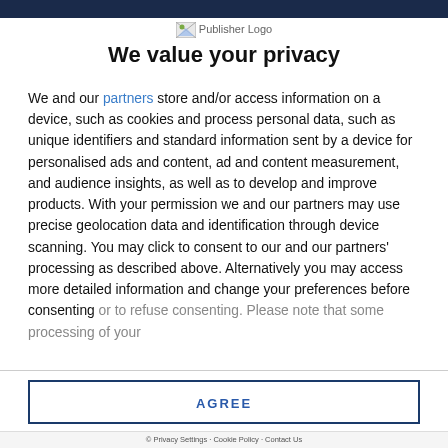[Figure (logo): Publisher Logo image with broken image icon]
We value your privacy
We and our partners store and/or access information on a device, such as cookies and process personal data, such as unique identifiers and standard information sent by a device for personalised ads and content, ad and content measurement, and audience insights, as well as to develop and improve products. With your permission we and our partners may use precise geolocation data and identification through device scanning. You may click to consent to our and our partners' processing as described above. Alternatively you may access more detailed information and change your preferences before consenting or to refuse consenting. Please note that some processing of your
AGREE
MORE OPTIONS